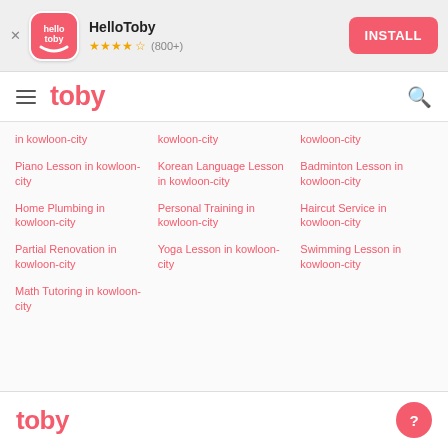[Figure (screenshot): HelloToby app install banner with logo, star rating (800+), and INSTALL button]
toby — navigation bar with hamburger menu and search icon
in kowloon-city
kowloon-city
kowloon-city
Piano Lesson in kowloon-city
Korean Language Lesson in kowloon-city
Badminton Lesson in kowloon-city
Home Plumbing in kowloon-city
Personal Training in kowloon-city
Haircut Service in kowloon-city
Partial Renovation in kowloon-city
Yoga Lesson in kowloon-city
Swimming Lesson in kowloon-city
Math Tutoring in kowloon-city
toby logo footer with help button